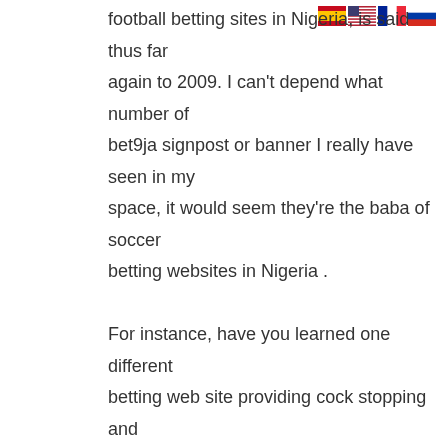football betting sites in Nigeria, is said thus far again to 2009. I can't depend what number of bet9ja signpost or banner I really have seen in my space, it would seem they're the baba of soccer betting websites in Nigeria .

For instance, have you learned one different betting web site providing cock stopping and surfing as a part of their choice? Of course, 1xBet furthermore provides all the traditional sports actions similar to soccer, hockey, basketball and tons of additional. 1xbet has a particular current for the followers of the Champions League. However, due to 1xBet has a partnerships and have constructed-inside the video video games contained contained in the platform, all of them